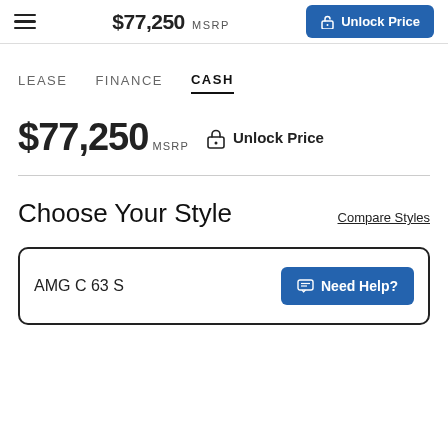$77,250 MSRP  Unlock Price
LEASE   FINANCE   CASH
$77,250 MSRP   Unlock Price
Choose Your Style
Compare Styles
AMG C 63 S